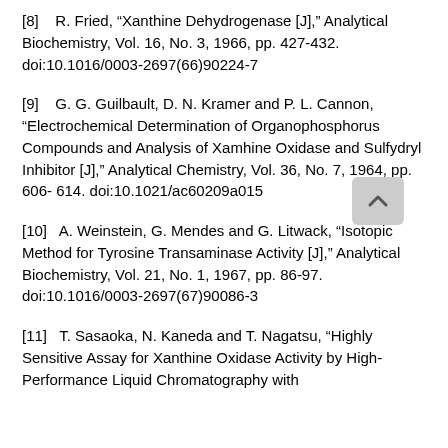[8]   R. Fried, “Xanthine Dehydrogenase [J],” Analytical Biochemistry, Vol. 16, No. 3, 1966, pp. 427-432. doi:10.1016/0003-2697(66)90224-7
[9]   G. G. Guilbault, D. N. Kramer and P. L. Cannon, “Electrochemical Determination of Organophosphorus Compounds and Analysis of Xamhine Oxidase and Sulfydryl Inhibitor [J],” Analytical Chemistry, Vol. 36, No. 7, 1964, pp. 606-614. doi:10.1021/ac60209a015
[10]   A. Weinstein, G. Mendes and G. Litwack, “Isotopic Method for Tyrosine Transaminase Activity [J],” Analytical Biochemistry, Vol. 21, No. 1, 1967, pp. 86-97. doi:10.1016/0003-2697(67)90086-3
[11]   T. Sasaoka, N. Kaneda and T. Nagatsu, “Highly Sensitive Assay for Xanthine Oxidase Activity by High-Performance Liquid Chromatography with